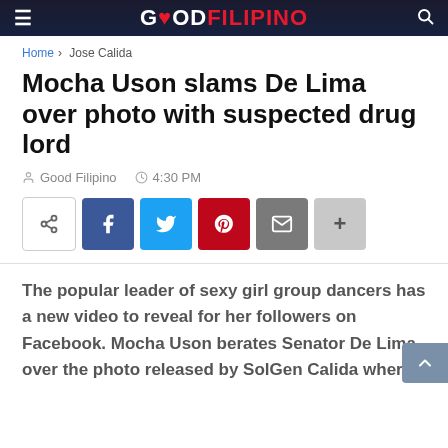GOOD FILIPINO
Home > Jose Calida
Mocha Uson slams De Lima over photo with suspected drug lord
Good Filipino   4:30 PM
[Figure (infographic): Social share buttons: generic share, Facebook, Twitter, Pinterest, Email, More (+)]
The popular leader of sexy girl group dancers has a new video to reveal for her followers on Facebook. Mocha Uson berates Senator De Lima over the photo released by SolGen Calida where